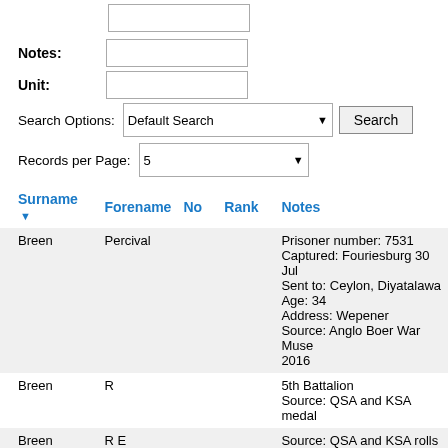Notes: [input field]
Unit: [input field]
Search Options: Default Search [dropdown] Search [button]
Records per Page: 5 [dropdown]
| Surname | Forename | No | Rank | Notes |
| --- | --- | --- | --- | --- |
| Breen | Percival |  |  | Prisoner number: 7531
Captured: Fouriesburg 30 Jul
Sent to: Ceylon, Diyatalawa
Age: 34
Address: Wepener
Source: Anglo Boer War Muse 2016 |
| Breen | R |  |  | 5th Battalion
Source: QSA and KSA medal |
| Breen | R E |  |  | Source: QSA and KSA rolls |
| Breen | R E | 3432 | Trooper | Prisoner. De Kiel's Drift, 13 Fe 1900 |